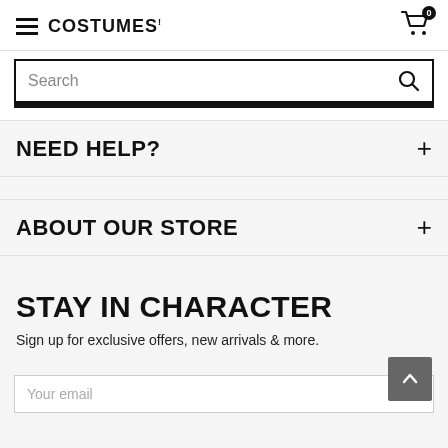COSTUMES (logo) | Cart 0
[Figure (screenshot): Search bar with magnifying glass icon and border]
NEED HELP? +
ABOUT OUR STORE +
STAY IN CHARACTER
Sign up for exclusive offers, new arrivals & more.
Your email